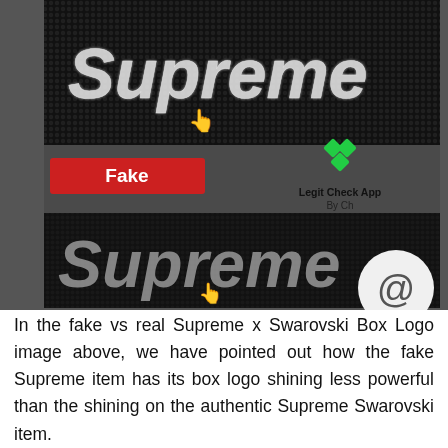[Figure (photo): Comparison image of fake vs real Supreme x Swarovski Box Logo items. Top half shows a real Supreme Swarovski item with brightly shining rhinestone logo on black fabric. A green horizontal line separates the two halves. A red 'Fake' label is visible on the left, and a 'Legit Check App By Ch' watermark with green diamond logo appears in the center. Bottom half shows a fake Supreme item with less shiny rhinestone lettering. An '@' symbol in a white circle is in the lower right corner.]
In the fake vs real Supreme x Swarovski Box Logo image above, we have pointed out how the fake Supreme item has its box logo shining less powerful than the shining on the authentic Supreme Swarovski item.